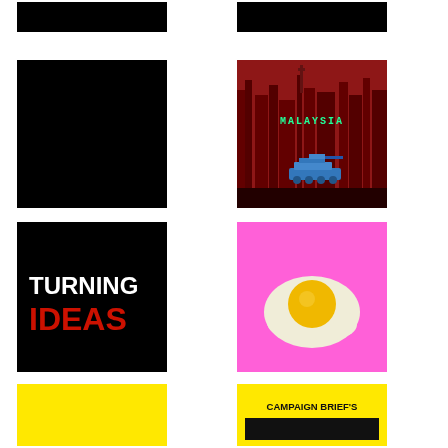[Figure (illustration): Black rectangle image, top left]
[Figure (illustration): Black rectangle image, top right]
[Figure (illustration): Large black square image, second row left]
[Figure (illustration): Pixel art video game scene with red background, city skyline, blue tank, and green text reading MALAYSIA]
[Figure (illustration): Black background with white bold text TURNING and red bold text IDEAS]
[Figure (illustration): Pink background with cartoon fried egg illustration]
[Figure (illustration): Yellow rectangle, bottom left]
[Figure (illustration): Yellow background with bold black text reading CAMPAIGN BRIEF'S and partial text below]